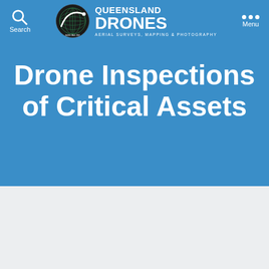[Figure (logo): Queensland Drones logo with circular emblem showing a drone arc over a globe grid, with text QUEENSLAND DRONES and tagline AERIAL SURVEYS, MAPPING & PHOTOGRAPHY]
Search
Menu
Drone Inspections of Critical Assets